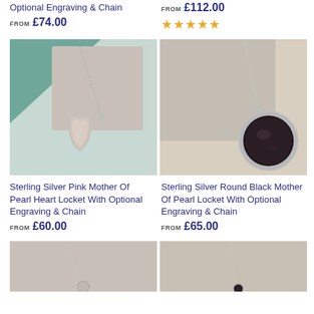Optional Engraving & Chain
FROM £74.00
FROM £112.00
★★★★★
[Figure (photo): Sterling silver pink mother of pearl heart locket pendant on a silver chain, displayed against a teal and grey stone background]
[Figure (photo): Sterling silver round black mother of pearl locket pendant on a silver chain, displayed against a beige and grey stone background]
Sterling Silver Pink Mother Of Pearl Heart Locket With Optional Engraving & Chain
FROM £60.00
Sterling Silver Round Black Mother Of Pearl Locket With Optional Engraving & Chain
FROM £65.00
[Figure (photo): Partial view of a sterling silver pendant on a chain against a grey background]
[Figure (photo): Partial view of a sterling silver pendant on a chain against a grey background]